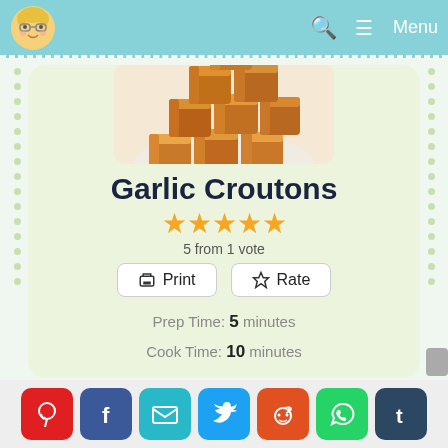Menu
[Figure (photo): Photo of golden garlic croutons piled on a white background]
Garlic Croutons
★★★★★ 5 from 1 vote
Print  Rate
Prep Time: 5 minutes
Cook Time: 10 minutes
[Figure (infographic): Social sharing icons bar: Pinterest, Facebook, Email, Twitter, Reddit, WhatsApp, Tumblr]